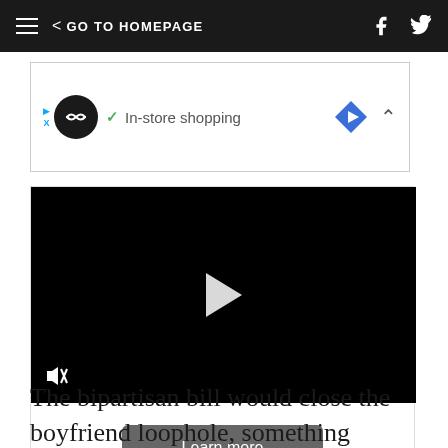GO TO HOMEPAGE
[Figure (screenshot): Advertisement banner showing a business with in-store shopping feature, with a diamond navigation icon and collapse button]
[Figure (screenshot): Video player with black background, white play triangle in center, mute icon in bottom left, and a Learn more button below]
The bipartisan bill would close the boyfriend loophole, something Democrats have long